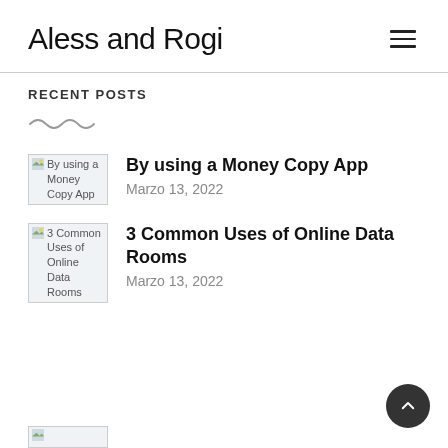Aless and Rogi
RECENT POSTS
By using a Money Copy App — Marzo 13, 2022
3 Common Uses of Online Data Rooms — Marzo 13, 2022